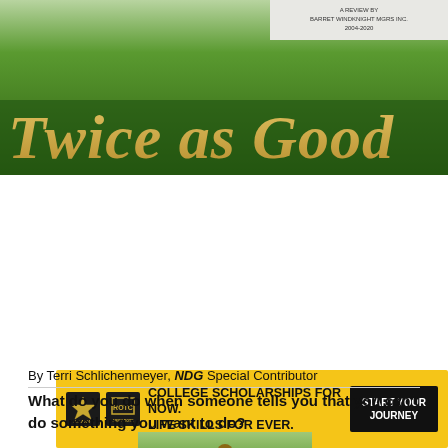[Figure (illustration): Book cover image with dark green golf course background and large italic gold script text reading 'Twice as Good']
[Figure (infographic): Yellow US Army ROTC advertisement banner with logos, text 'COLLEGE SCHOLARSHIPS FOR NOW. LIFE SKILLS FOR EVER.' and black 'START YOUR JOURNEY' button]
[Figure (infographic): Social media share buttons row: Facebook (blue), Twitter (light blue), Pinterest (red), WhatsApp (green)]
By Terri Schlichenmeyer, NDG Special Contributor
What do you do when someone tells you that you can't do something you want to do?
[Figure (illustration): Painting of a young Black golfer mid-swing on a golf course]